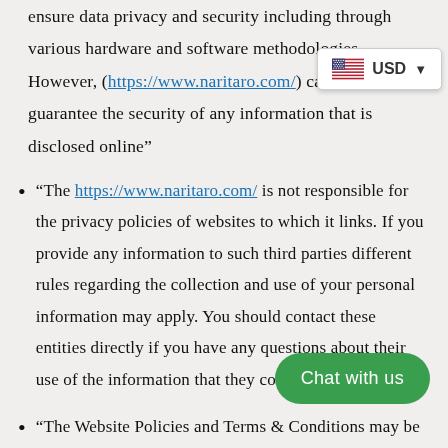ensure data privacy and security including through various hardware and software methodologies. However, (https://www.naritaro.com/) cannot guarantee the security of any information that is disclosed online"
[Figure (other): Currency selector widget showing US flag and USD label with dropdown arrow]
"The https://www.naritaro.com/ is not responsible for the privacy policies of websites to which it links. If you provide any information to such third parties different rules regarding the collection and use of your personal information may apply. You should contact these entities directly if you have any questions about their use of the information that they collect."
[Figure (other): Green rounded Chat with us button]
"The Website Policies and Terms & Conditions may be